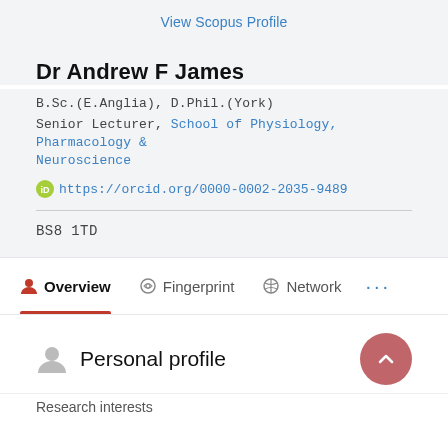View Scopus Profile
Dr Andrew F James
B.Sc.(E.Anglia), D.Phil.(York)
Senior Lecturer, School of Physiology, Pharmacology & Neuroscience
https://orcid.org/0000-0002-2035-9489
BS8 1TD
Overview
Fingerprint
Network
Personal profile
Research interests